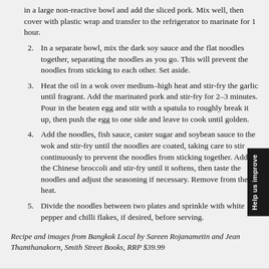in a large non-reactive bowl and add the sliced pork. Mix well, then cover with plastic wrap and transfer to the refrigerator to marinate for 1 hour.
2. In a separate bowl, mix the dark soy sauce and the flat noodles together, separating the noodles as you go. This will prevent the noodles from sticking to each other. Set aside.
3. Heat the oil in a wok over medium–high heat and stir-fry the garlic until fragrant. Add the marinated pork and stir-fry for 2–3 minutes. Pour in the beaten egg and stir with a spatula to roughly break it up, then push the egg to one side and leave to cook until golden.
4. Add the noodles, fish sauce, caster sugar and soybean sauce to the wok and stir-fry until the noodles are coated, taking care to stir continuously to prevent the noodles from sticking together. Add the Chinese broccoli and stir-fry until it softens, then taste the noodles and adjust the seasoning if necessary. Remove from the heat.
5. Divide the noodles between two plates and sprinkle with white pepper and chilli flakes, if desired, before serving.
Recipe and images from Bangkok Local by Sareen Rojanametin and Jean Thamthanakorn, Smith Street Books, RRP $39.99